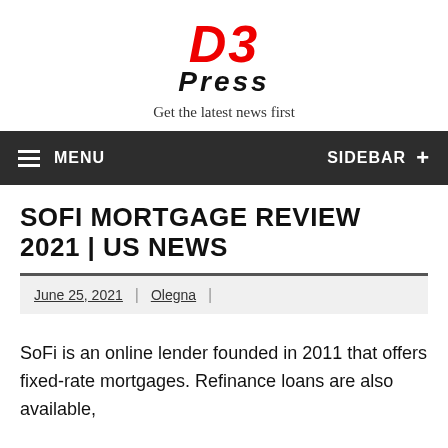D3 Press – Get the latest news first
SOFI MORTGAGE REVIEW 2021 | US NEWS
June 25, 2021 | Olegna |
SoFi is an online lender founded in 2011 that offers fixed-rate mortgages. Refinance loans are also available,